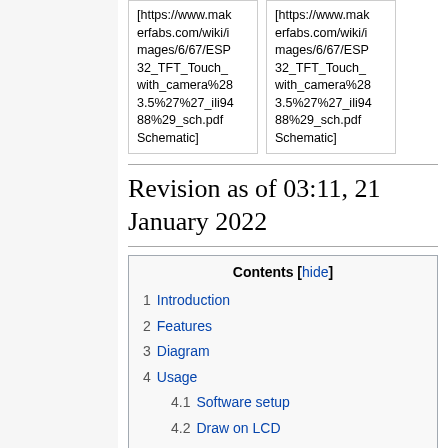| [https://www.makerfabs.com/wiki/images/6/67/ESP32_TFT_Touch_with_camera%283.5%27%27_ili9488%29_sch.pdf Schematic] | [https://www.makerfabs.com/wiki/images/6/67/ESP32_TFT_Touch_with_camera%283.5%27%27_ili9488%29_sch.pdf Schematic] |
Revision as of 03:11, 21 January 2022
Contents [hide]
1 Introduction
2 Features
3 Diagram
4 Usage
  4.1 Software setup
  4.2 Draw on LCD
  4.3 Display the picture